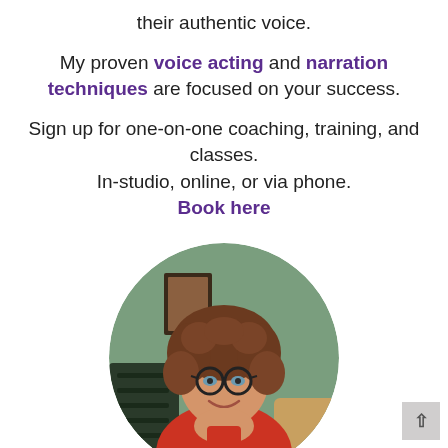their authentic voice.
My proven voice acting and narration techniques are focused on your success.
Sign up for one-on-one coaching, training, and classes.
In-studio, online, or via phone.
Book here
[Figure (photo): Circular portrait photo of a woman with curly brown hair, glasses, wearing a red top, smiling with her chin resting on her hand, seated in what appears to be an office or studio setting.]